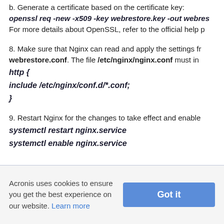b. Generate a certificate based on the certificate key:
openssl req -new -x509 -key webrestore.key -out webres
For more details about OpenSSL, refer to the official help p
8. Make sure that Nginx can read and apply the settings fr
webrestore.conf. The file /etc/nginx/nginx.conf must in
http {
include /etc/nginx/conf.d/*.conf;
}
9. Restart Nginx for the changes to take effect and enable
systemctl restart nginx.service
systemctl enable nginx.service
Acronis uses cookies to ensure you get the best experience on our website. Learn more